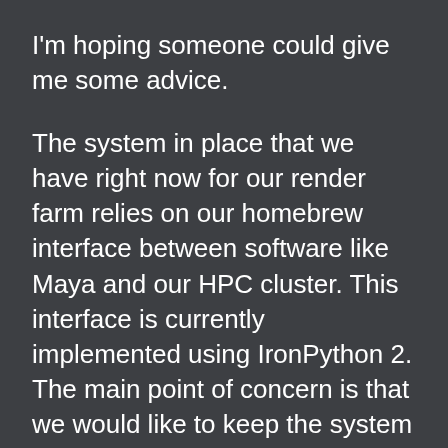I'm hoping someone could give me some advice.
The system in place that we have right now for our render farm relies on our homebrew interface between software like Maya and our HPC cluster. This interface is currently implemented using IronPython 2. The main point of concern is that we would like to keep the system relatively the same and upgrade to a Python 3 environment, however, IronPython 3 does not currently have a "stable" release as of yet and this is needed for .NET dependencies for our